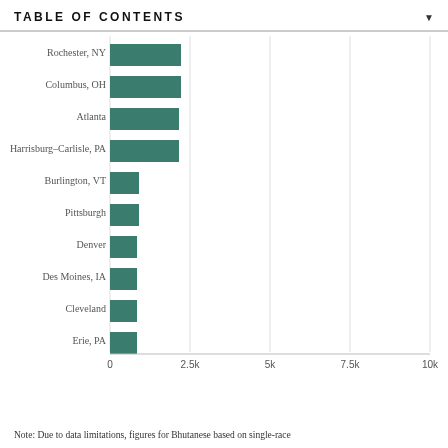TABLE OF CONTENTS
[Figure (bar-chart): ]
Note: Due to data limitations, figures for Bhutanese based on single-race